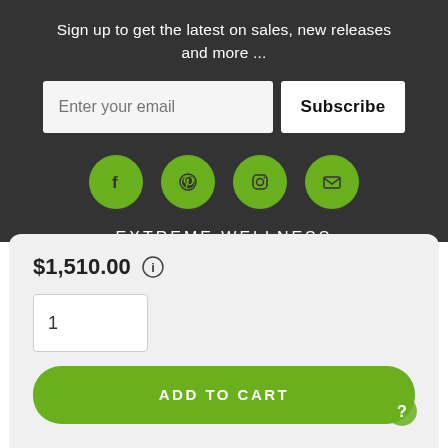Sign up to get the latest on sales, new releases and more ...
[Figure (screenshot): Email input field with placeholder 'Enter your email' and a 'Subscribe' button]
[Figure (infographic): Four green circular social media icons: Facebook, Pinterest, Instagram, Email]
EXTREME WELLNESS
$1,510.00
1
ADD TO CART